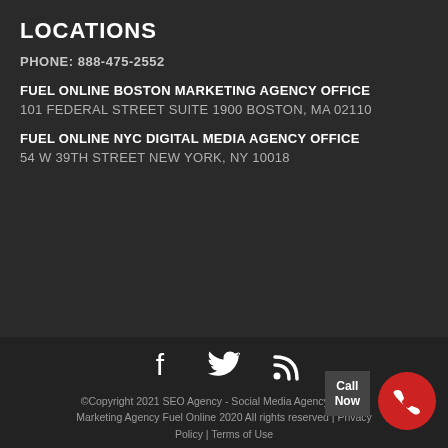LOCATIONS
PHONE: 888-475-2552
FUEL ONLINE BOSTON MARKETING AGENCY OFFICE
101 FEDERAL STREET SUITE 1900 BOSTON, MA 02110
FUEL ONLINE NYC DIGITAL MEDIA AGENCY OFFICE
54 W 39TH STREET NEW YORK, NY 10018
[Figure (infographic): Social media icons: Facebook, Twitter, RSS feed]
©Copyright 2021 SEO Agency - Social Media Agency - Digital Marketing Agency Fuel Online 2020 All rights reserved | Privacy Policy | Terms of Use